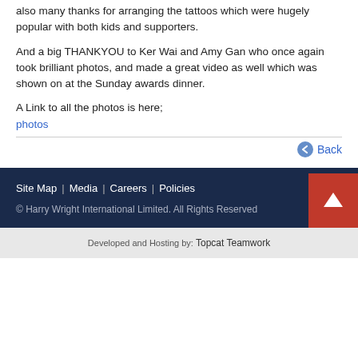also many thanks for arranging the tattoos which were hugely popular with both kids and supporters.
And a big THANKYOU to Ker Wai and Amy Gan who once again took brilliant photos, and made a great video as well which was shown on at the Sunday awards dinner.
A Link to all the photos is here;
photos
Back
Site Map | Media | Careers | Policies
© Harry Wright International Limited. All Rights Reserved
Developed and Hosting by: Topcat Teamwork